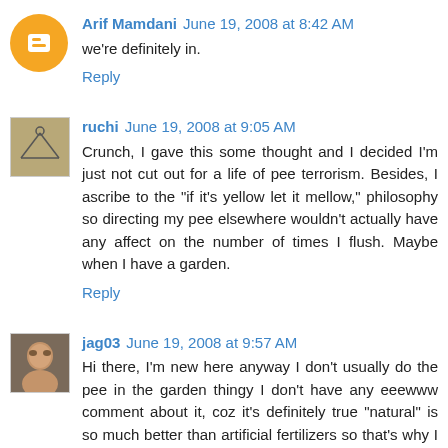Arif Mamdani  June 19, 2008 at 8:42 AM
we're definitely in.
Reply
ruchi  June 19, 2008 at 9:05 AM
Crunch, I gave this some thought and I decided I'm just not cut out for a life of pee terrorism. Besides, I ascribe to the "if it's yellow let it mellow," philosophy so directing my pee elsewhere wouldn't actually have any affect on the number of times I flush. Maybe when I have a garden.
Reply
jag03  June 19, 2008 at 9:57 AM
Hi there, I'm new here anyway I don't usually do the pee in the garden thingy I don't have any eeewww comment about it, coz it's definitely true "natural" is so much better than artificial fertilizers so that's why I had my brother spread the